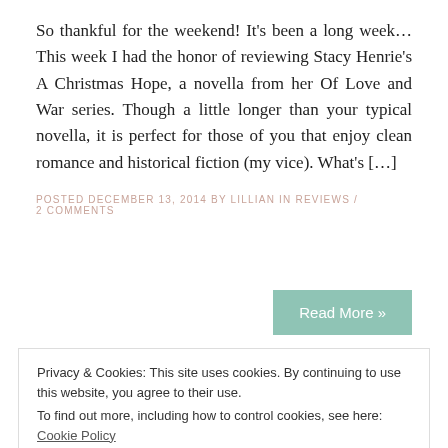So thankful for the weekend! It's been a long week…This week I had the honor of reviewing Stacy Henrie's A Christmas Hope, a novella from her Of Love and War series. Though a little longer than your typical novella, it is perfect for those of you that enjoy clean romance and historical fiction (my vice). What's […]
POSTED DECEMBER 13, 2014 BY LILLIAN IN REVIEWS / 2 COMMENTS
Read More »
Privacy & Cookies: This site uses cookies. By continuing to use this website, you agree to their use. To find out more, including how to control cookies, see here: Cookie Policy
Close and accept